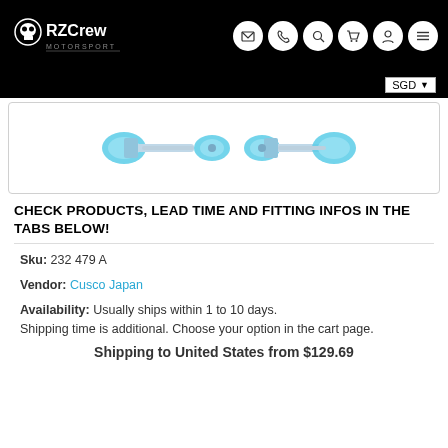[Figure (logo): RZCrew Garage logo with skull icon on black navigation bar with icons for email, phone, search, cart, account, and menu]
[Figure (photo): Product photo showing blue aluminum strut bar/stabilizer bar components on white background]
CHECK PRODUCTS, LEAD TIME AND FITTING INFOS IN THE TABS BELOW!
Sku: 232 479 A
Vendor: Cusco Japan
Availability: Usually ships within 1 to 10 days. Shipping time is additional. Choose your option in the cart page.
Shipping to United States from $129.69